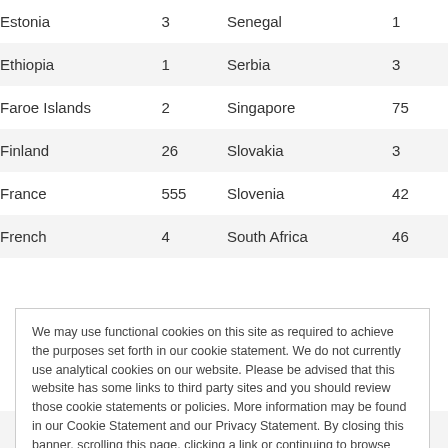| Country | Count | Country | Count |
| --- | --- | --- | --- |
| Estonia | 3 | Senegal | 1 |
| Ethiopia | 1 | Serbia | 3 |
| Faroe Islands | 2 | Singapore | 75 |
| Finland | 26 | Slovakia | 3 |
| France | 555 | Slovenia | 42 |
| French | 4 | South Africa | 46 |
| Greenland | 1 | Switzerland | 370 |
We may use functional cookies on this site as required to achieve the purposes set forth in our cookie statement. We do not currently use analytical cookies on our website. Please be advised that this website has some links to third party sites and you should review those cookie statements or policies. More information may be found in our Cookie Statement and our Privacy Statement. By closing this banner, scrolling this page, clicking a link or continuing to browse otherwise, you agree to the use of cookies. Cookie Statement